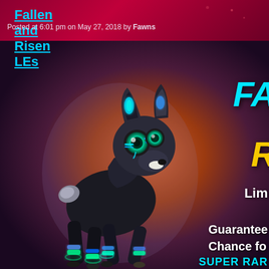Fallen and Risen LEs
Posted at 6:01 pm on May 27, 2018 by Fawns
[Figure (illustration): A 3D-rendered dark/black fawn (deer) with glowing cyan and blue stripe markings on its legs and ears, large teal glowing eyes, set against a warm orange-red to deep purple radial gradient background. On the right side of the image, partially cropped text appears: 'FA' in large cyan letters, 'R' in yellow letters below, then 'Lim' (Limited), 'Guarantee', 'Chance fo', and 'SUPER RAR' text in white and cyan.]